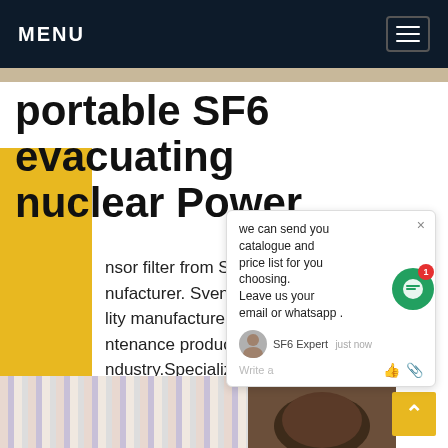MENU
portable SF6 evacuating nuclear Power
nsor filter from Sweden. Power manufacturer. Svenska Transorfilter lity manufacturer of high performance ntenance products for the power industry.Specializing in transformer oil filtration, SF6 evacuation equipment as well as nuclear power ntenance units.All products are made in Sweden h focus on customer Get price
[Figure (screenshot): Chat popup overlay showing message: we can send you catalogue and price list for you choosing. Leave us your email or whatsapp. SF6 Expert label, just now timestamp, Write a prompt area with thumbs up and attachment icons. Green chat bubble button with red notification badge showing 1.]
[Figure (photo): Bottom section showing two photos: left photo with vertical striped fabric pattern in pink/blue/white, right photo showing a dark rounded object on white background.]
REQUEST A QUOTE